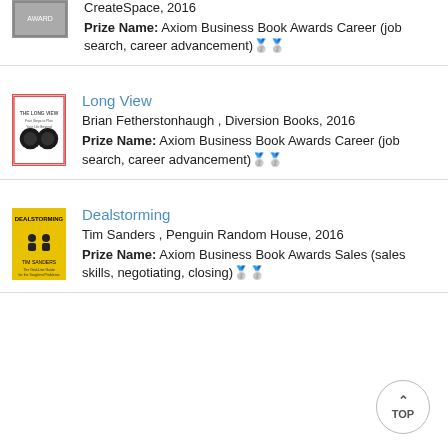[Figure (illustration): Book cover partially visible at top of page]
CreateSpace, 2016
Prize Name: Axiom Business Book Awards Career (job search, career advancement)🥈🥈
[Figure (illustration): Book cover of Long View showing binoculars]
Long View
Brian Fetherstonhaugh , Diversion Books, 2016
Prize Name: Axiom Business Book Awards Career (job search, career advancement)🥈🥈
[Figure (illustration): Book cover of Dealstorming with yellow background]
Dealstorming
Tim Sanders , Penguin Random House, 2016
Prize Name: Axiom Business Book Awards Sales (sales skills, negotiating, closing)🥈🥈